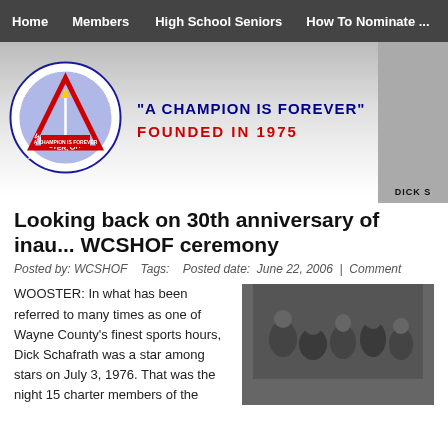Home | Members | High School Seniors | How To Nominate ...
[Figure (logo): Wayne County Sports Hall of Fame Inc. circular logo with triangle and torch, Wooster Ohio, blue and red on white]
"A CHAMPION IS FOREVER"
FOUNDED IN 1975
Looking back on 30th anniversary of inau... WCSHOF ceremony
Posted by: WCSHOF   Tags:   Posted date: June 22, 2006 | Comment
WOOSTER: In what has been referred to many times as one of Wayne County's finest sports hours, Dick Schafrath was a star among stars on July 3, 1976. That was the night 15 charter members of the